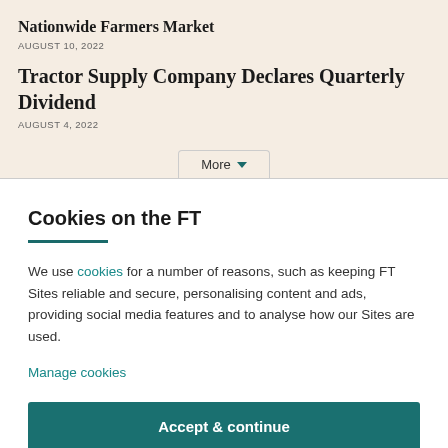Nationwide Farmers Market
AUGUST 10, 2022
Tractor Supply Company Declares Quarterly Dividend
AUGUST 4, 2022
More ▼
Cookies on the FT
We use cookies for a number of reasons, such as keeping FT Sites reliable and secure, personalising content and ads, providing social media features and to analyse how our Sites are used.
Manage cookies
Accept & continue